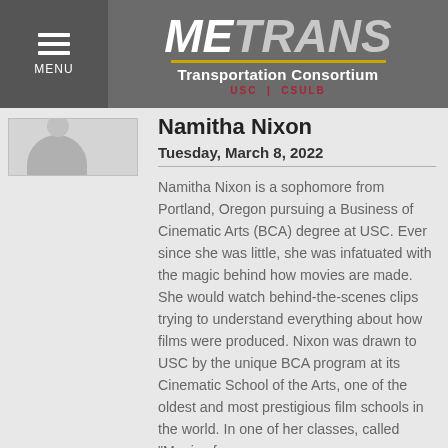METRANS Transportation Consortium USC | CSULB
Namitha Nixon
Tuesday, March 8, 2022
Namitha Nixon is a sophomore from Portland, Oregon pursuing a Business of Cinematic Arts (BCA) degree at USC. Ever since she was little, she was infatuated with the magic behind how movies are made. She would watch behind-the-scenes clips trying to understand everything about how films were produced. Nixon was drawn to USC by the unique BCA program at its Cinematic School of the Arts, one of the oldest and most prestigious film schools in the world. In one of her classes, called "Magic of ...
[Figure (photo): Partial photo of Namitha Nixon]